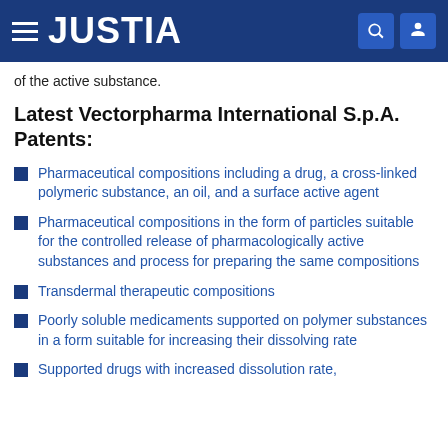JUSTIA
of the active substance.
Latest Vectorpharma International S.p.A. Patents:
Pharmaceutical compositions including a drug, a cross-linked polymeric substance, an oil, and a surface active agent
Pharmaceutical compositions in the form of particles suitable for the controlled release of pharmacologically active substances and process for preparing the same compositions
Transdermal therapeutic compositions
Poorly soluble medicaments supported on polymer substances in a form suitable for increasing their dissolving rate
Supported drugs with increased dissolution rate,